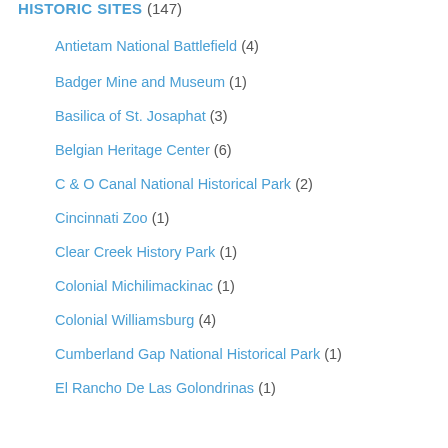HISTORIC SITES (147)
Antietam National Battlefield (4)
Badger Mine and Museum (1)
Basilica of St. Josaphat (3)
Belgian Heritage Center (6)
C & O Canal National Historical Park (2)
Cincinnati Zoo (1)
Clear Creek History Park (1)
Colonial Michilimackinac (1)
Colonial Williamsburg (4)
Cumberland Gap National Historical Park (1)
El Rancho De Las Golondrinas (1)
Fairfield House (1)
Forest Home Cemetery (2)
Fort George National Historic Site of CA (3)
Fort McHenry (1)
Fort Wellington National Historic Site (1)
Fort William Historical Park (1)
Gammelgården Museum (1)
Genesee Country Village & Museum (4)